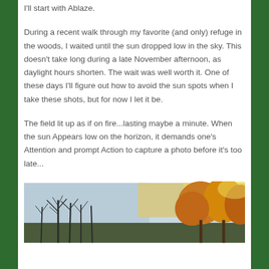I'll start with Ablaze.
During a recent walk through my favorite (and only) refuge in the woods, I waited until the sun dropped low in the sky. This doesn't take long during a late November afternoon, as daylight hours shorten. The wait was well worth it. One of these days I'll figure out how to avoid the sun spots when I take these shots, but for now I let it be.
The field lit up as if on fire...lasting maybe a minute. When the sun Appears low on the horizon, it demands one's Attention and prompt Action to capture a photo before it's too late...
[Figure (photo): Outdoor nature photo showing bare winter trees against a pale sky on the left, and orange/golden foliage lit by low sunlight on the right side of the frame.]